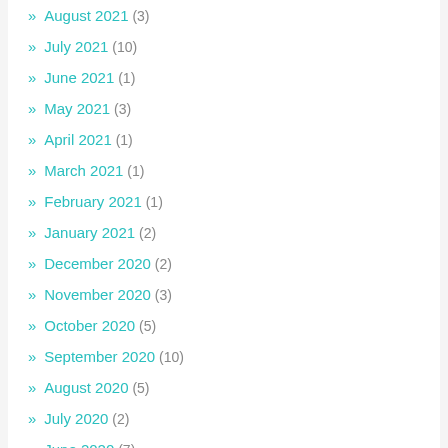» August 2021 (3)
» July 2021 (10)
» June 2021 (1)
» May 2021 (3)
» April 2021 (1)
» March 2021 (1)
» February 2021 (1)
» January 2021 (2)
» December 2020 (2)
» November 2020 (3)
» October 2020 (5)
» September 2020 (10)
» August 2020 (5)
» July 2020 (2)
» June 2020 (7)